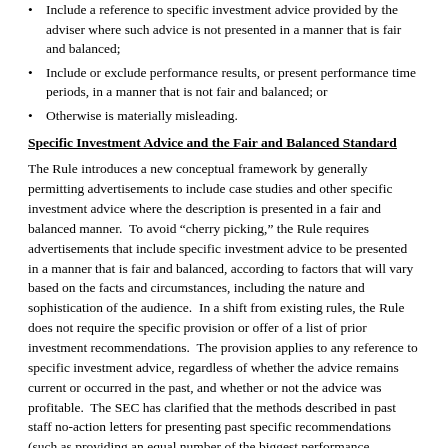Include a reference to specific investment advice provided by the adviser where such advice is not presented in a manner that is fair and balanced;
Include or exclude performance results, or present performance time periods, in a manner that is not fair and balanced; or
Otherwise is materially misleading.
Specific Investment Advice and the Fair and Balanced Standard
The Rule introduces a new conceptual framework by generally permitting advertisements to include case studies and other specific investment advice where the description is presented in a fair and balanced manner.  To avoid “cherry picking,” the Rule requires advertisements that include specific investment advice to be presented in a manner that is fair and balanced, according to factors that will vary based on the facts and circumstances, including the nature and sophistication of the audience.  In a shift from existing rules, the Rule does not require the specific provision or offer of a list of prior investment recommendations.  The provision applies to any reference to specific investment advice, regardless of whether the advice remains current or occurred in the past, and whether or not the advice was profitable.  The SEC has clarified that the methods described in past staff no-action letters for presenting past specific recommendations (such as providing an equal number of the biggest performance contributors and detractors) would not be